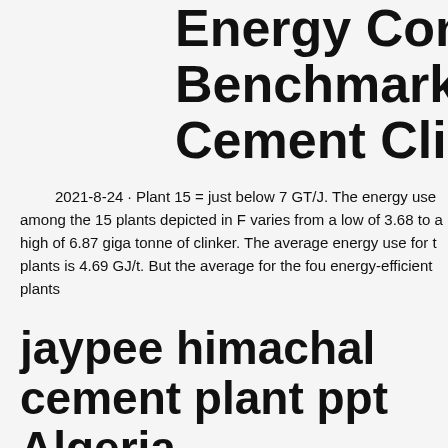Energy Consumption Benchmark Guide: Cement Clinker
2021-8-24 · Plant 15 = just below 7 GT/J. The energy use among the 15 plants depicted in F varies from a low of 3.68 to a high of 6.87 giga tonne of clinker. The average energy use for t plants is 4.69 GJ/t. But the average for the fou energy-efficient plants
jaypee himachal cement plant ppt Algeria
[Figure (illustration): Advertisement sidebar showing industrial cement/mining machinery images with orange background, discount offer text 'Enjoy 3% discount', 'Click to Chat' button, 'Enquiry' link, and email limingjlmofen@sina.com]
Jaypee Rewa Cement Plant and Jaype B Cement Plant in Madhya Pradesh of the Group have been awarded with renowned and most prestigious